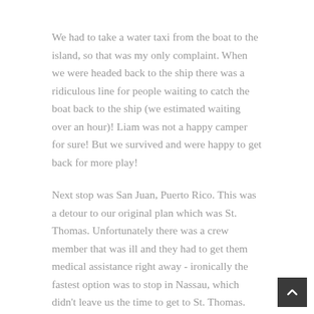We had to take a water taxi from the boat to the island, so that was my only complaint. When we were headed back to the ship there was a ridiculous line for people waiting to catch the boat back to the ship (we estimated waiting over an hour)! Liam was not a happy camper for sure! But we survived and were happy to get back for more play!
Next stop was San Juan, Puerto Rico. This was a detour to our original plan which was St. Thomas. Unfortunately there was a crew member that was ill and they had to get them medical assistance right away - ironically the fastest option was to stop in Nassau, which didn't leave us the time to get to St. Thomas.